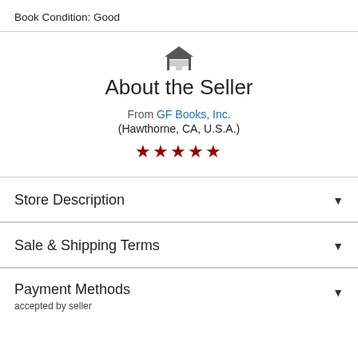Book Condition: Good
About the Seller
From GF Books, Inc. (Hawthorne, CA, U.S.A.) ★★★★★
Store Description
Sale & Shipping Terms
Payment Methods
accepted by seller